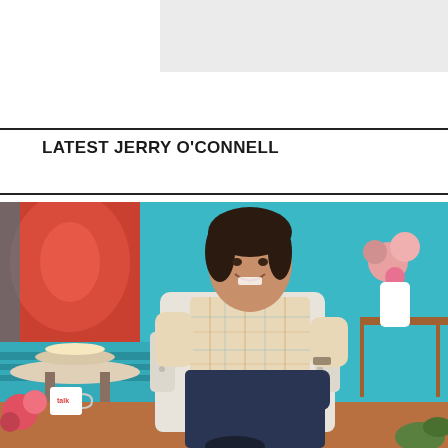[Figure (other): Gray banner/advertisement placeholder at top right of page]
LATEST JERRY O'CONNELL
[Figure (photo): Jerry O'Connell sitting in a white chair on a colorful talk show set with flowers and teal decor, smiling at camera, wearing a plaid short-sleeve shirt and dark pants]